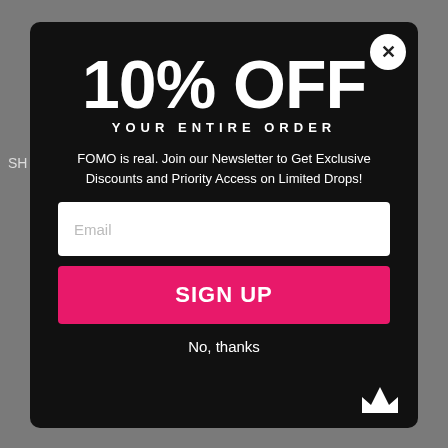[Figure (screenshot): E-commerce website background with dark navigation bar visible]
10% OFF
YOUR ENTIRE ORDER
FOMO is real. Join our Newsletter to Get Exclusive Discounts and Priority Access on Limited Drops!
Email
SIGN UP
No, thanks